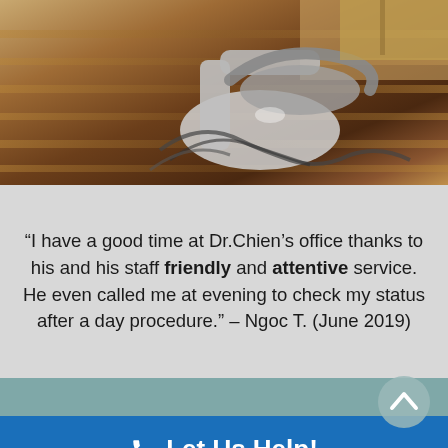[Figure (photo): Dental office photo showing a dental chair/equipment on a hardwood floor, viewed from above at an angle.]
“I have a good time at Dr.Chien’s office thanks to his and his staff friendly and attentive service. He even called me at evening to check my status after a day procedure.” – Ngoc T. (June 2019)
Let Us Help!